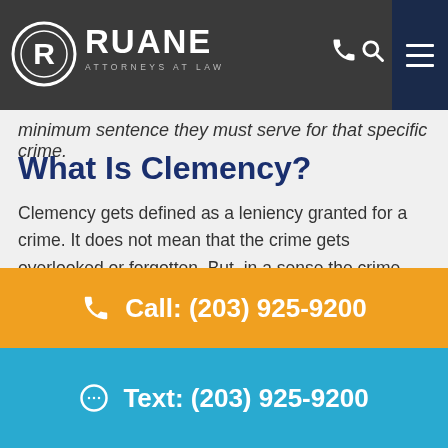Ruane Attorneys at Law — navigation header
minimum sentence they must serve for that specific crime.
What Is Clemency?
Clemency gets defined as a leniency granted for a crime. It does not mean that the crime gets overlooked or forgotten. But, in a sense the crime becomes forgiven. This means the offender is treated more leniently for his
Call: (203) 925-9200
Text: (203) 925-9200